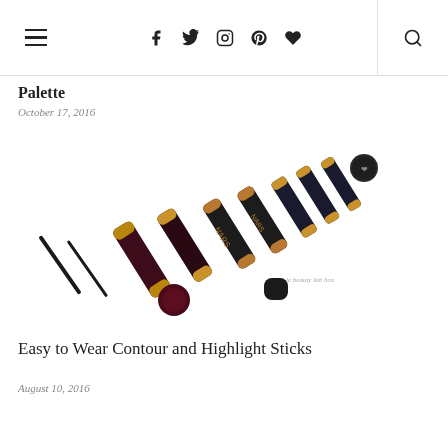Navigation bar with hamburger menu, social icons (Facebook, Twitter, Instagram, Pinterest, heart/wishlist), and search icon
Palette
October 17, 2016
[Figure (photo): Flat lay photograph of multiple makeup contour and highlight sticks in dark/black and gold packaging (NARS and other brands), with two thin eyeliner pencils and a small round cap, arranged diagonally on a white background. Watermark reads 'le beauty lab box'.]
Easy to Wear Contour and Highlight Sticks
August 10, 2016